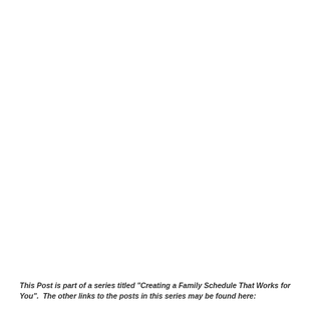This Post is part of a series titled "Creating a Family Schedule That Works for You".  The other links to the posts in this series may be found here: